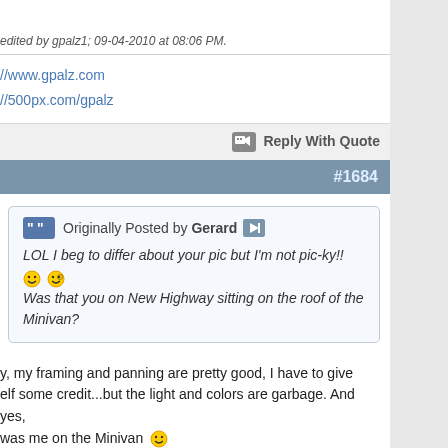edited by gpalz1; 09-04-2010 at 08:06 PM.
//www.gpalz.com
//500px.com/gpalz
Reply With Quote
#1684
Originally Posted by Gerard
LOL I beg to differ about your pic but I'm not pic-ky!!
Was that you on New Highway sitting on the roof of the Minivan?
y, my framing and panning are pretty good, I have to give elf some credit...but the light and colors are garbage. And yes, was me on the Minivan